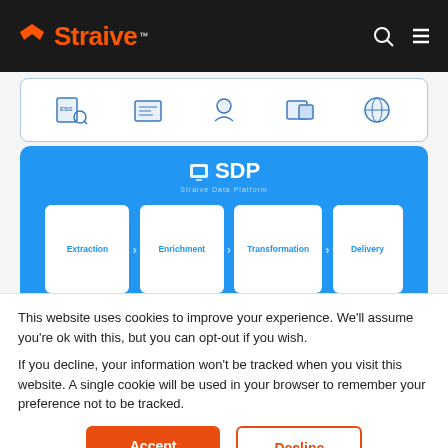Straive™
[Figure (screenshot): Straive website screenshot showing SDP (Straive Data Platform) with steps: Extraction, Enrichment, Transformation, Delivery, and ESG frameworks section below]
This website uses cookies to improve your experience. We'll assume you're ok with this, but you can opt-out if you wish.
If you decline, your information won't be tracked when you visit this website. A single cookie will be used in your browser to remember your preference not to be tracked.
Accept
Decline